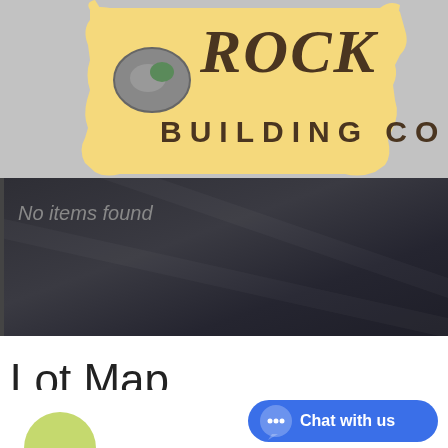[Figure (logo): Rock Building Co. logo — yellow/tan parchment-style banner with brown text reading ROCK on top and BUILDING CO. below, with a rock/stone graphic on the left, set on a light gray background]
[Figure (screenshot): Dark/charcoal background panel with the text 'No items found' in gray on the upper left]
Lot Map
[Figure (other): Partial view of a green circular map element at the bottom left, and a blue 'Chat with us' button with speech bubble icon at the bottom right]